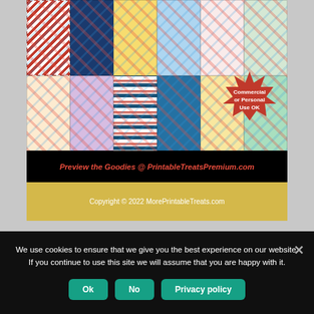[Figure (photo): A collage of colorful digital paper patterns including chevrons, polka dots, stars, rubber ducks, sports themes, watercolor, and balloons. A red starburst badge reads 'Commercial or Personal Use OK'. A black banner at the bottom reads 'Preview the Goodies @ PrintableTreatsPremium.com' in red italic text.]
Copyright © 2022 MorePrintableTreats.com
We use cookies to ensure that we give you the best experience on our website. If you continue to use this site we will assume that you are happy with it.